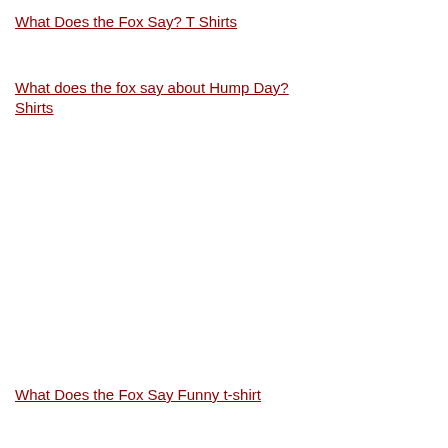What Does the Fox Say? T Shirts
What does the fox say about Hump Day? Shirts
What Does the Fox Say Funny t-shirt